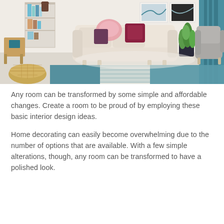[Figure (photo): A modern living room with a beige sofa with pink and dark red pillows, a white bookshelf, a round rattan pouf on the floor, a teal and white geometric rug, a potted plant, a grey armchair, and teal curtains. The room is bright with light wood elements and white walls.]
Any room can be transformed by some simple and affordable changes. Create a room to be proud of by employing these basic interior design ideas.
Home decorating can easily become overwhelming due to the number of options that are available. With a few simple alterations, though, any room can be transformed to have a polished look.